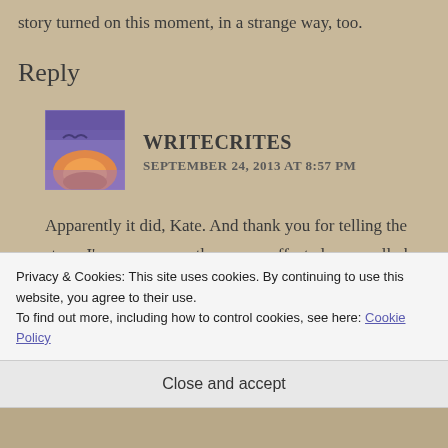story turned on this moment, in a strange way, too.
Reply
[Figure (illustration): Avatar image showing a stylized sunset with purple/pink hues and a bird silhouette]
WRITECRITES
SEPTEMBER 24, 2013 AT 8:57 PM
Apparently it did, Kate. And thank you for telling the story. I'm sure many others were affected personally by the same meeting.
Privacy & Cookies: This site uses cookies. By continuing to use this website, you agree to their use.
To find out more, including how to control cookies, see here: Cookie Policy
Close and accept